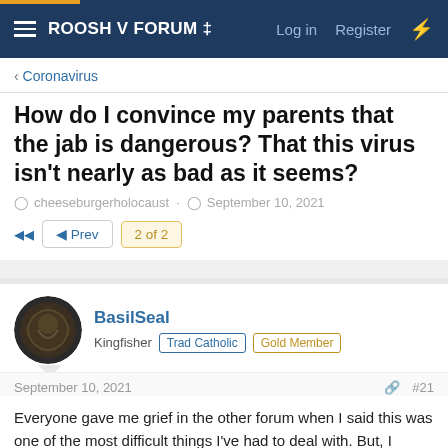ROOSH V FORUM ‡  Log in  Register
Coronavirus
How do I convince my parents that the jab is dangerous? That this virus isn't nearly as bad as it seems?
cheeseburgerholocaust · September 10, 2021
◄◄  ◄ Prev  2 of 2
BasilSeal
Kingfisher  Trad Catholic  Gold Member
September 10, 2021  #21
Everyone gave me grief in the other forum when I said this was one of the most difficult things I've had to deal with. But, I understand how you feel. My parents were born in the 1940s. Their perspective on vaccines is guided by their own lifetime of